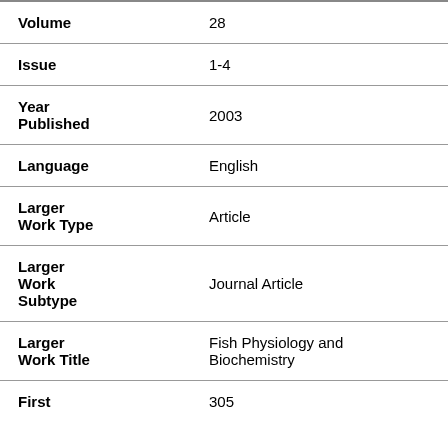| Field | Value |
| --- | --- |
| Volume | 28 |
| Issue | 1-4 |
| Year Published | 2003 |
| Language | English |
| Larger Work Type | Article |
| Larger Work Subtype | Journal Article |
| Larger Work Title | Fish Physiology and Biochemistry |
| First page | 305 |